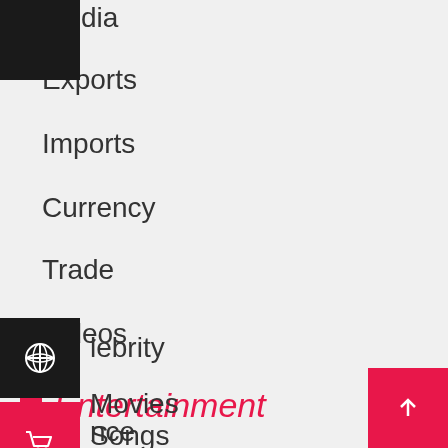Media
Exports
Imports
Currency
Trade
Videos
Entertainment
Celebrity
Dance
Movies
Songs